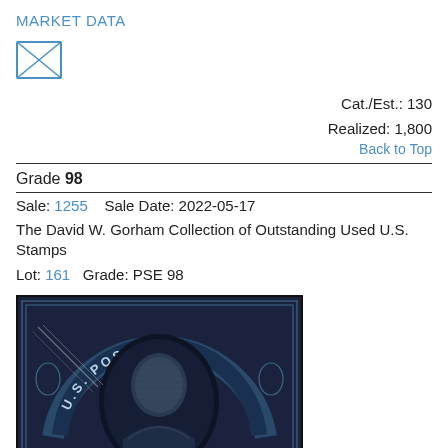MARKET DATA
[Figure (illustration): Envelope icon (letter/mail icon) with X lines across it, outlined in blue]
Cat./Est.: 130
Realized: 1,800
Back to Top
Grade 98
Sale: 1255    Sale Date: 2022-05-17
The David W. Gorham Collection of Outstanding Used U.S. Stamps
Lot: 161   Grade: PSE 98
[Figure (photo): Close-up photograph of a classic U.S. postage stamp showing U.S. POSTAGE text in an arc, with a portrait (likely Washington) in the center oval, printed in dark blue/black tones, with visible cancellation marks and ornate border design.]